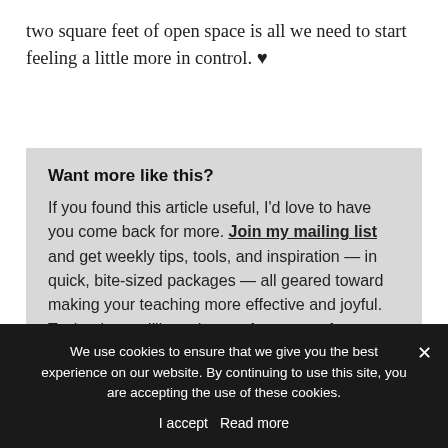two square feet of open space is all we need to start feeling a little more in control. ♥
Want more like this?
If you found this article useful, I'd love to have you come back for more. Join my mailing list and get weekly tips, tools, and inspiration — in quick, bite-sized packages — all geared toward making your teaching more effective and joyful. To thank you, I'll send you a free copy of my new e-booklet, 20 Ways
We use cookies to ensure that we give you the best experience on our website. By continuing to use this site, you are accepting the use of these cookies.
I accept  Read more